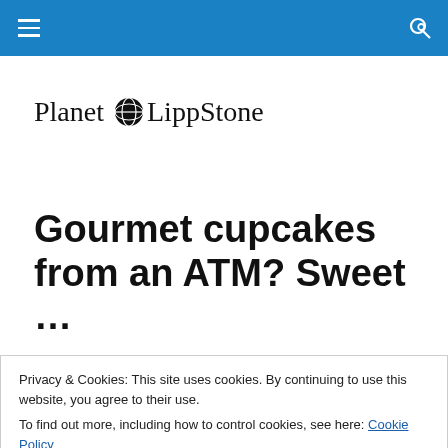Planet LippStone navigation bar with hamburger menu and search icon
[Figure (logo): Planet LippStone logo with globe icon between 'Planet' and 'LippStone' text]
Gourmet cupcakes from an ATM? Sweet …
Privacy & Cookies: This site uses cookies. By continuing to use this website, you agree to their use.
To find out more, including how to control cookies, see here: Cookie Policy
Close and accept
[Figure (photo): Partial sepia-toned photograph visible at bottom of page]